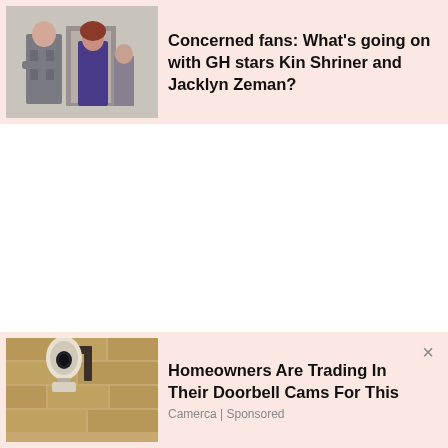[Figure (photo): News card with thumbnail photo of two TV actors in a scene - a man in grey suit and a woman in purple dress, with pink/salmon background]
Concerned fans: What's going on with GH stars Kin Shriner and Jacklyn Zeman?
[Figure (photo): Advertisement card with thumbnail photo of a security camera mounted on a wall, with pink/salmon background]
Homeowners Are Trading In Their Doorbell Cams For This
Camerca | Sponsored